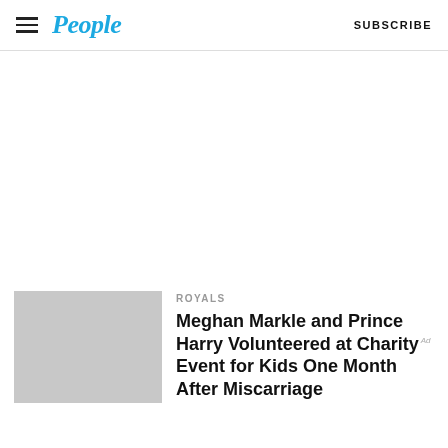People | SUBSCRIBE
[Figure (other): Advertisement/blank white space area]
[Figure (photo): Gray placeholder thumbnail image for article]
ROYALS
Meghan Markle and Prince Harry Volunteered at Charity Event for Kids One Month After Miscarriage